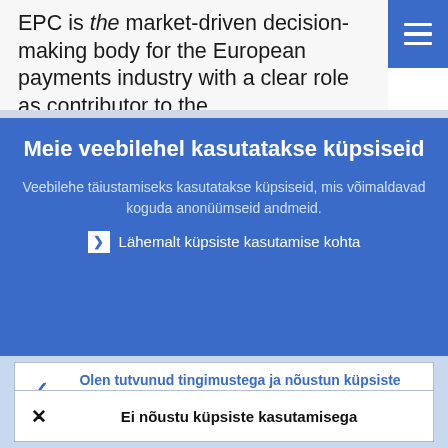EPC is the market-driven decision-making body for the European payments industry with a clear role as contributor to the
[Figure (screenshot): Blue hamburger menu button in top right corner]
Meie veebilehel kasutatakse küpsiseid
Veebilehe täiustamiseks kasutatakse küpsiseid, mis võimaldavad koguda anonüümseid andmeid.
› Lähemalt küpsiste kasutamise kohta
✓ Olen tutvunud tingimustega ja nõustun küpsiste kasutamisega
✗ Ei nõustu küpsiste kasutamisega